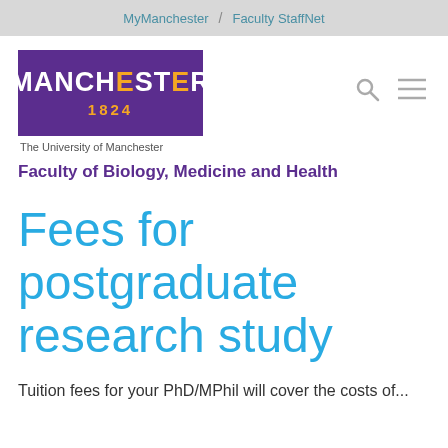MyManchester / Faculty StaffNet
[Figure (logo): University of Manchester logo — purple rectangle with white MANCHESTER text, gold 1824, below reads The University of Manchester]
Faculty of Biology, Medicine and Health
Fees for postgraduate research study
Tuition fees for your PhD/MPhil will cover the costs of...